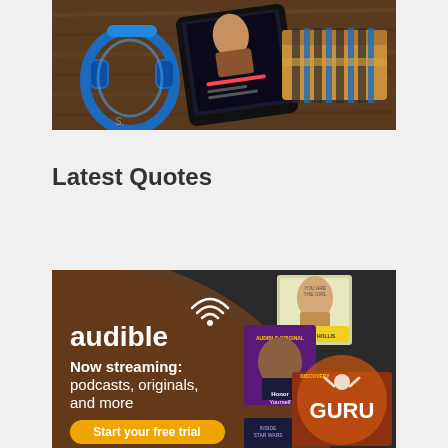[Figure (photo): Flat lay photo showing blue headphones, a tablet displaying a music app, and an Amazon shipping box on a wooden surface.]
Latest Quotes
[Figure (screenshot): Audible advertisement banner with dark background showing audible logo, text 'Now streaming: podcasts, originals, and more', a 'Start your free trial' button, and book/podcast cover images including Honor Yourself and GURU.]